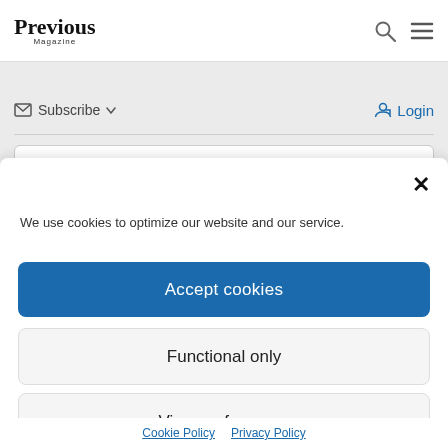Previous Magazine
Subscribe  Login
×
We use cookies to optimize our website and our service.
Accept cookies
Functional only
View preferences
Cookie Policy  Privacy Policy